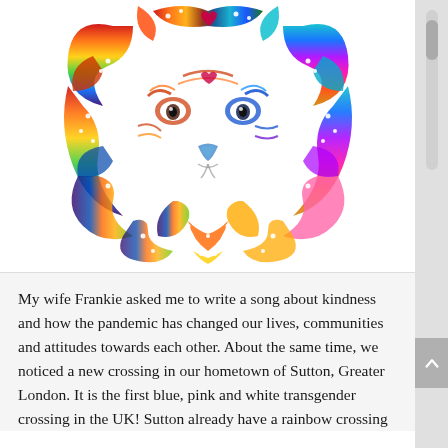[Figure (illustration): A colorful rainbow-gradient decorative lion head illustration with ornate swirling patterns forming the mane. The lion's face is white/light with colorful mandala-style decorative elements. Colors range from red/orange at the top through yellow, green, blue, purple, and pink.]
My wife Frankie asked me to write a song about kindness and how the pandemic has changed our lives, communities and attitudes towards each other. About the same time, we noticed a new crossing in our hometown of Sutton, Greater London. It is the first blue, pink and white transgender crossing in the UK! Sutton already have a rainbow crossing